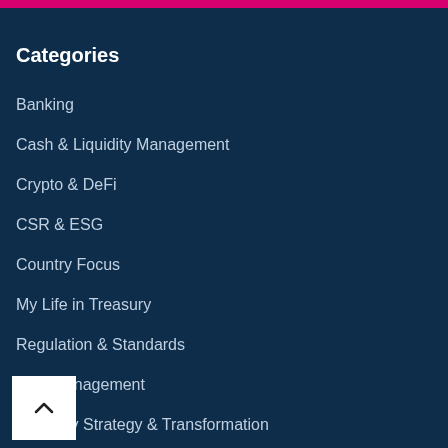Categories
Banking
Cash & Liquidity Management
Crypto & DeFi
CSR & ESG
Country Focus
My Life in Treasury
Regulation & Standards
Risk Management
Treasury Strategy & Transformation
Tax, Accounting & Legal
Trade Finance
ury Technology